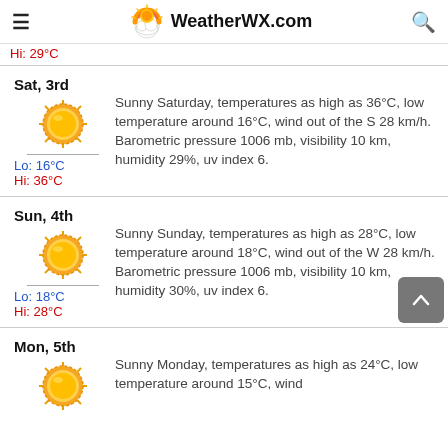WeatherWX.com
Hi: 29°C
Sat, 3rd — Sunny Saturday, temperatures as high as 36°C, low temperature around 16°C, wind out of the S 28 km/h. Barometric pressure 1006 mb, visibility 10 km, humidity 29%, uv index 6. Lo: 16°C Hi: 36°C
Sun, 4th — Sunny Sunday, temperatures as high as 28°C, low temperature around 18°C, wind out of the W 28 km/h. Barometric pressure 1006 mb, visibility 10 km, humidity 30%, uv index 6. Lo: 18°C Hi: 28°C
Mon, 5th — Sunny Monday, temperatures as high as 24°C, low temperature around 15°C, wind